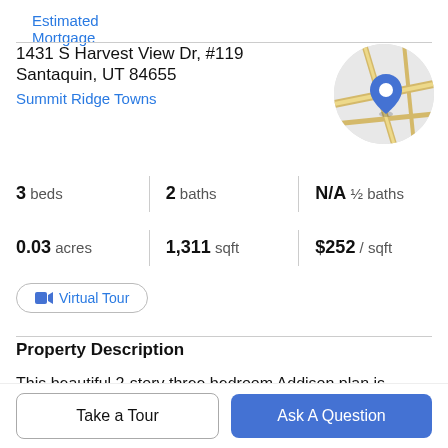Estimated Mortgage
1431 S Harvest View Dr, #119
Santaquin, UT 84655
Summit Ridge Towns
[Figure (map): Circular map thumbnail with a blue location pin marker on a street map.]
3 beds | 2 baths | N/A ½ baths
0.03 acres | 1,311 sqft | $252 / sqft
Virtual Tour
Property Description
This beautiful 2-story three bedroom Addison plan is estimated to be completed in September. Enjoy our
Take a Tour
Ask A Question
that includes stainless appliances, with gas cooking